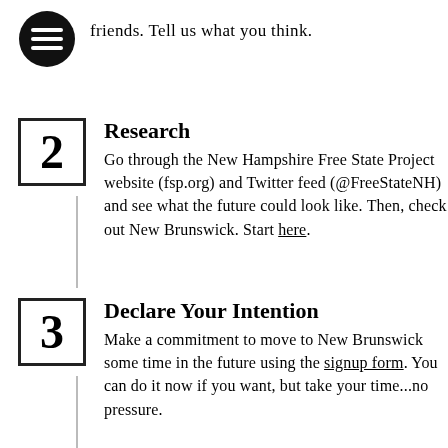friends. Tell us what you think.
2 Research
Go through the New Hampshire Free State Project website (fsp.org) and Twitter feed (@FreeStateNH) and see what the future could look like. Then, check out New Brunswick. Start here.
3 Declare Your Intention
Make a commitment to move to New Brunswick some time in the future using the signup form. You can do it now if you want, but take your time...no pressure.